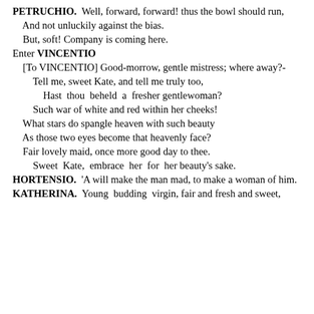PETRUCHIO.  Well, forward, forward! thus the bowl should run,
    And not unluckily against the bias.
    But, soft! Company is coming here.
Enter VINCENTIO
    [To VINCENTIO] Good-morrow, gentle mistress; where away?-
        Tell me, sweet Kate, and tell me truly too,
            Hast  thou  beheld  a  fresher gentlewoman?
        Such war of white and red within her cheeks!
    What stars do spangle heaven with such beauty
    As those two eyes become that heavenly face?
    Fair lovely maid, once more good day to thee.
        Sweet  Kate,  embrace  her  for  her beauty's sake.
HORTENSIO.  'A will make the man mad, to make a woman of him.
KATHERINA.  Young  budding  virgin, fair and fresh and sweet,